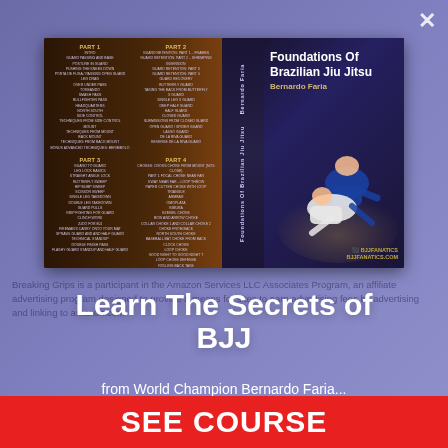[Figure (photo): Book cover for 'Foundations Of Brazilian Jiu Jitsu' by Bernardo Faria, showing BJJ practitioners grappling on the cover, with a table of contents on the back listing Parts 1-6 of the instructional DVD series, published by BJJ Fanatics.]
Learn The Secrets of BJJ
from World Champion Bernardo Faria...
SEE COURSE